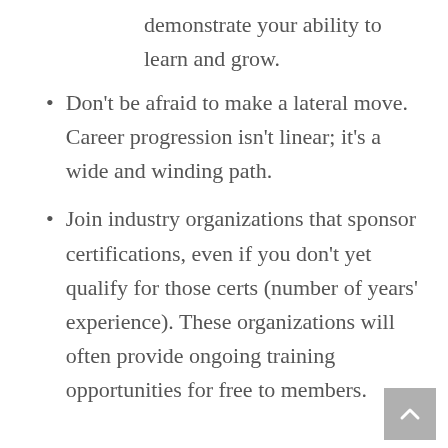demonstrate your ability to learn and grow.
Don't be afraid to make a lateral move. Career progression isn't linear; it's a wide and winding path.
Join industry organizations that sponsor certifications, even if you don't yet qualify for those certs (number of years' experience). These organizations will often provide ongoing training opportunities for free to members.